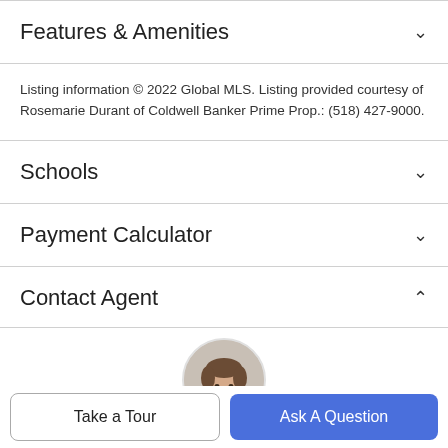Features & Amenities
Listing information © 2022 Global MLS. Listing provided courtesy of Rosemarie Durant of Coldwell Banker Prime Prop.: (518) 427-9000.
Schools
Payment Calculator
Contact Agent
[Figure (photo): Circular headshot photo of a male real estate agent with short beard and brown hair]
Take a Tour
Ask A Question